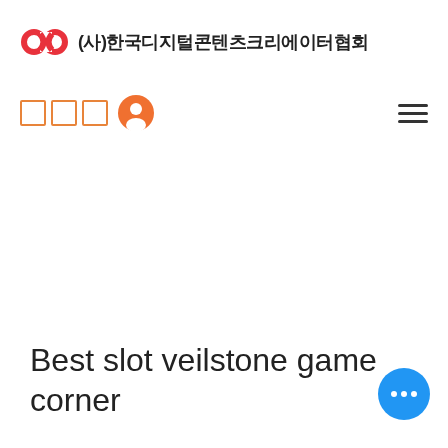[Figure (logo): Red infinity-loop style logo mark for Korean Digital Content Creator Association]
(사)한국디지털콘텐츠크리에이터협회
[Figure (screenshot): Navigation bar with three orange square icons, an orange user avatar icon on the left, and a hamburger menu icon on the right]
Best slot veilstone game corner